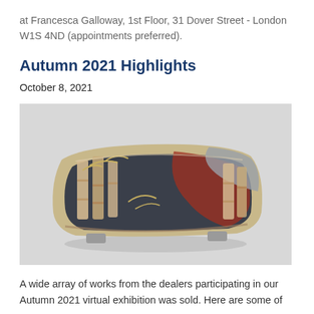at Francesca Galloway, 1st Floor, 31 Dover Street - London W1S 4ND (appointments preferred).
Autumn 2021 Highlights
October 8, 2021
[Figure (photo): A rectangular ceramic dish with short legs, decorated with a bamboo motif in dark grey/black, terracotta red and cream/beige colors on a light grey background. The dish has a slightly concave shape with raised feet underneath.]
A wide array of works from the dealers participating in our Autumn 2021 virtual exhibition was sold. Here are some of